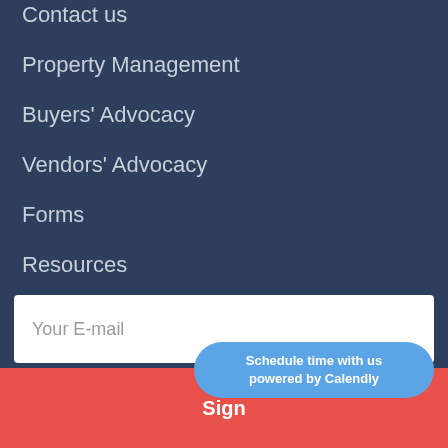Contact us
Property Management
Buyers' Advocacy
Vendors' Advocacy
Forms
Resources
Blog
Your E-mail
Sign
Schedule time with us powered by Calendly